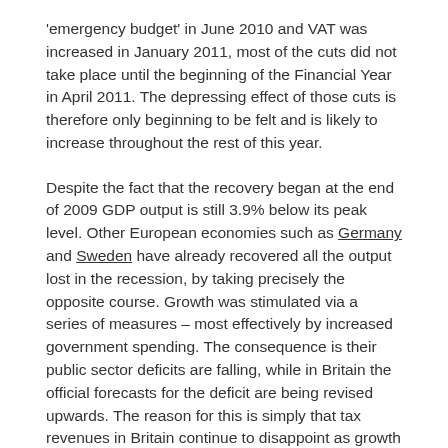'emergency budget' in June 2010 and VAT was increased in January 2011, most of the cuts did not take place until the beginning of the Financial Year in April 2011. The depressing effect of those cuts is therefore only beginning to be felt and is likely to increase throughout the rest of this year.
Despite the fact that the recovery began at the end of 2009 GDP output is still 3.9% below its peak level. Other European economies such as Germany and Sweden have already recovered all the output lost in the recession, by taking precisely the opposite course. Growth was stimulated via a series of measures – most effectively by increased government spending. The consequence is their public sector deficits are falling, while in Britain the official forecasts for the deficit are being revised upwards. The reason for this is simply that tax revenues in Britain continue to disappoint as growth remains elusive.